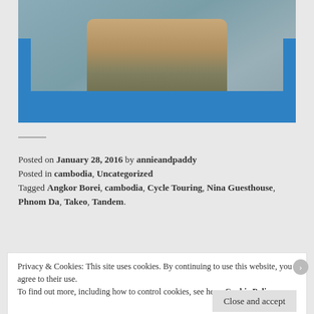[Figure (photo): Two people (a man and a woman) sitting in a blue boat on a river. The man is wearing a patterned shirt and the woman is wearing a black top. Both are looking at the camera.]
Posted on January 28, 2016 by annieandpaddy
Posted in cambodia, Uncategorized
Tagged Angkor Borei, cambodia, Cycle Touring, Nina Guesthouse, Phnom Da, Takeo, Tandem.
Privacy & Cookies: This site uses cookies. By continuing to use this website, you agree to their use.
To find out more, including how to control cookies, see here: Cookie Policy
Close and accept